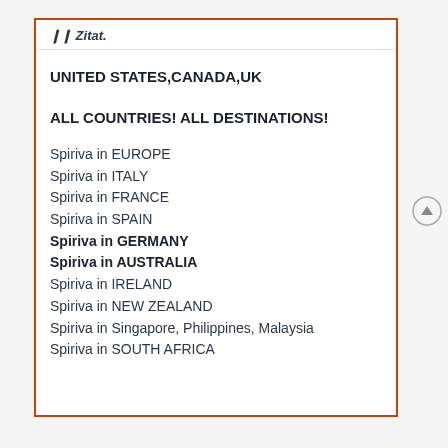Zitat.
UNITED STATES,CANADA,UK
ALL COUNTRIES! ALL DESTINATIONS!
Spiriva in EUROPE
Spiriva in ITALY
Spiriva in FRANCE
Spiriva in SPAIN
Spiriva in GERMANY
Spiriva in AUSTRALIA
Spiriva in IRELAND
Spiriva in NEW ZEALAND
Spiriva in Singapore, Philippines, Malaysia
Spiriva in SOUTH AFRICA